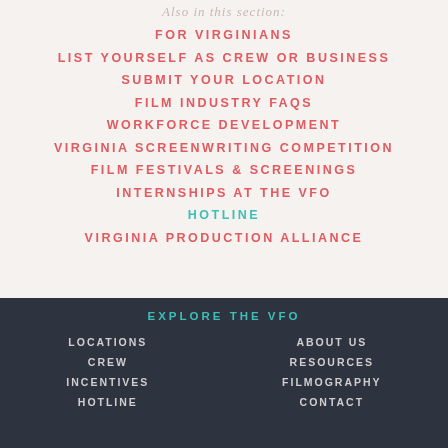Also in this section:
FOR VIRGINIANS
LIST YOURSELF AS CREW OR BUSINESS
SUBMIT YOUR LOCATION
FILM INDUSTRY FAQS
WORKFORCE DEVELOPMENT
VIRGINIA SCREENWRITING COMPETITION
FILM FESTIVALS & SCREENINGS
INTERNSHIPS AT THE VFO
HOTLINE
VIRGINIA PRODUCTION ALLIANCE
EXPLORE THE VFO  LOCATIONS  CREW  INCENTIVES  HOTLINE  ABOUT US  RESOURCES  FILMOGRAPHY  CONTACT